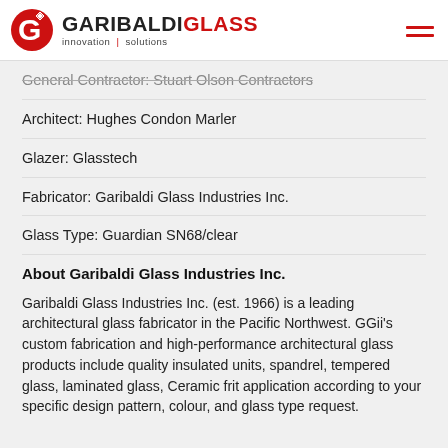[Figure (logo): Garibaldi Glass logo with red G icon and text 'GARIBALDI GLASS innovation | solutions']
General Contractor: Stuart Olson Contractors
Architect: Hughes Condon Marler
Glazer: Glasstech
Fabricator: Garibaldi Glass Industries Inc.
Glass Type: Guardian SN68/clear
About Garibaldi Glass Industries Inc.
Garibaldi Glass Industries Inc. (est. 1966) is a leading architectural glass fabricator in the Pacific Northwest. GGii's custom fabrication and high-performance architectural glass products include quality insulated units, spandrel, tempered glass, laminated glass, Ceramic frit application according to your specific design pattern, colour, and glass type request.